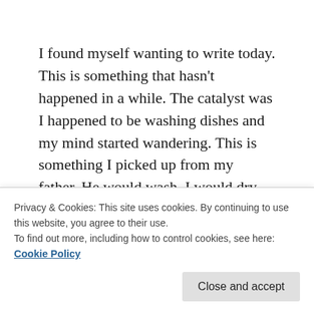I found myself wanting to write today. This is something that hasn't happened in a while. The catalyst was I happened to be washing dishes and my mind started wandering. This is something I picked up from my father. He would wash, I would dry back when we lived together. I may or may not have stuck myself a bit with a knife, which reminded me of a story for another day about washing dishes with my dad. But I digress.
The past two days I had 9 freshmen move in and the
Privacy & Cookies: This site uses cookies. By continuing to use this website, you agree to their use.
To find out more, including how to control cookies, see here:
Cookie Policy
weighing on my mind. I get ones like this all the time,